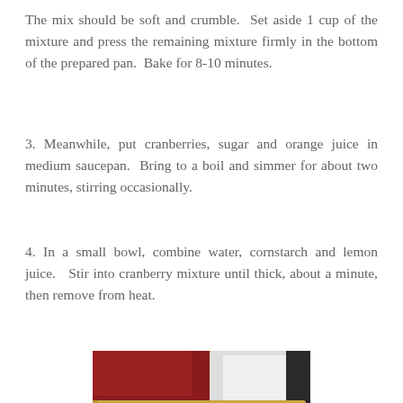The mix should be soft and crumble.  Set aside 1 cup of the mixture and press the remaining mixture firmly in the bottom of the prepared pan.  Bake for 8-10 minutes.
3. Meanwhile, put cranberries, sugar and orange juice in medium saucepan.  Bring to a boil and simmer for about two minutes, stirring occasionally.
4. In a small bowl, combine water, cornstarch and lemon juice.   Stir into cranberry mixture until thick, about a minute, then remove from heat.
[Figure (photo): A baking pan filled with a crumble oat topping, with cranberry filling visible in the background corner, and a white spatula/dish nearby.]